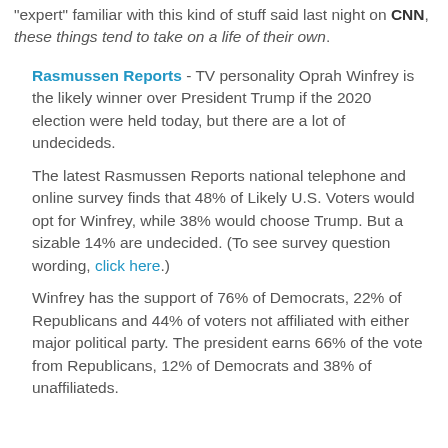"expert" familiar with this kind of stuff said last night on CNN, these things tend to take on a life of their own.
Rasmussen Reports - TV personality Oprah Winfrey is the likely winner over President Trump if the 2020 election were held today, but there are a lot of undecideds.
The latest Rasmussen Reports national telephone and online survey finds that 48% of Likely U.S. Voters would opt for Winfrey, while 38% would choose Trump. But a sizable 14% are undecided. (To see survey question wording, click here.)
Winfrey has the support of 76% of Democrats, 22% of Republicans and 44% of voters not affiliated with either major political party. The president earns 66% of the vote from Republicans, 12% of Democrats and 38% of unaffiliateds.